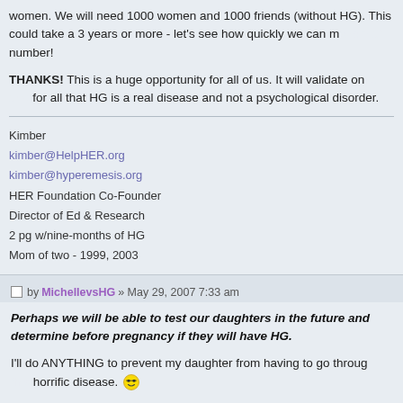women. We will need 1000 women and 1000 friends (without HG). This could take a 3 years or more - let's see how quickly we can make that number!
THANKS! This is a huge opportunity for all of us. It will validate once and for all that HG is a real disease and not a psychological disorder.
Kimber
kimber@HelpHER.org
kimber@hyperemesis.org
HER Foundation Co-Founder
Director of Ed & Research
2 pg w/nine-months of HG
Mom of two - 1999, 2003
by MichellevsHG » May 29, 2007 7:33 am
Perhaps we will be able to test our daughters in the future and determine before pregnancy if they will have HG.
I'll do ANYTHING to prevent my daughter from having to go through this horrific disease.
I'll help get the word out about this research opportunity!